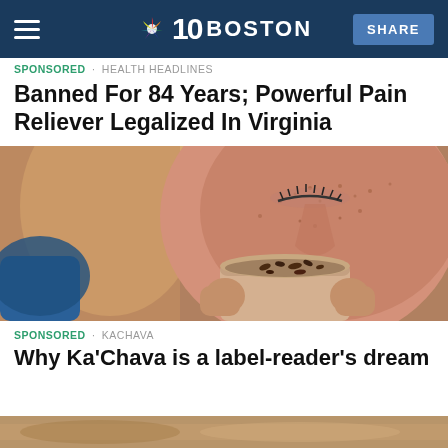NBC 10 BOSTON | SHARE
SPONSORED · HEALTH HEADLINES
Banned For 84 Years; Powerful Pain Reliever Legalized In Virginia
[Figure (photo): Close-up of a freckled woman with eyes closed, smelling or sipping from a cup held in her hands.]
SPONSORED · KACHAVA
Why Ka'Chava is a label-reader's dream
[Figure (photo): Bottom strip of a photo, partially visible.]